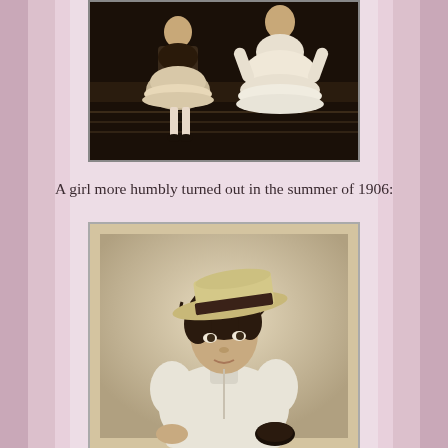[Figure (photo): Vintage sepia photograph of two young girls in Victorian/Edwardian era dresses with ruffles and frills, cropped at top of page]
A girl more humbly turned out in the summer of 1906:
[Figure (photo): Vintage sepia portrait photograph of a young girl wearing a flat-brimmed straw boater hat and white blouse, looking directly at the camera, summer 1906]